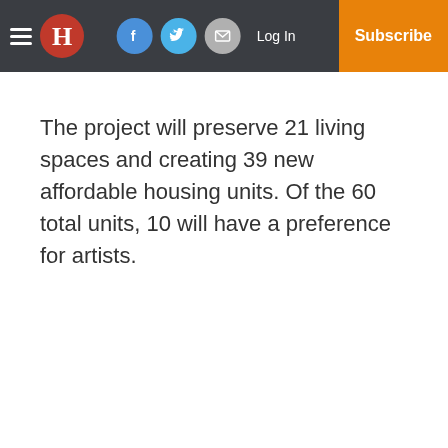[Figure (other): Newspaper website navigation bar with hamburger menu, red H logo, Facebook, Twitter, and email social icons, Log In link, and orange Subscribe button]
The project will preserve 21 living spaces and creating 39 new affordable housing units. Of the 60 total units, 10 will have a preference for artists.